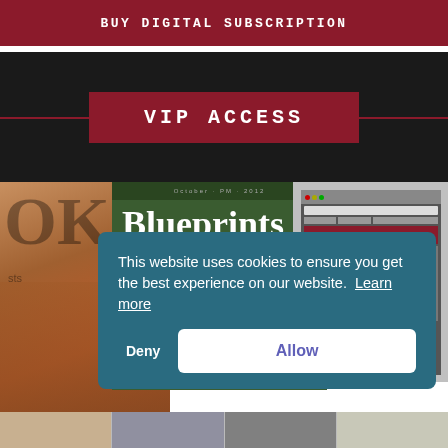BUY DIGITAL SUBSCRIPTION
VIP ACCESS
[Figure (photo): Magazine covers collage showing Blueprints magazine (green cover) with 'OK' magazine visible on the left, and a computer screen screenshot on the right]
This website uses cookies to ensure you get the best experience on our website.  Learn more
Deny
Allow